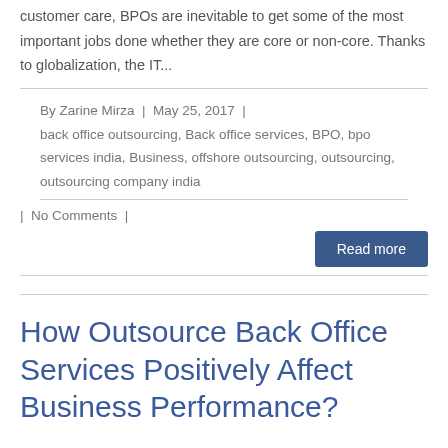customer care, BPOs are inevitable to get some of the most important jobs done whether they are core or non-core. Thanks to globalization, the IT...
By Zarine Mirza  |  May 25, 2017  |  back office outsourcing, Back office services, BPO, bpo services india, Business, offshore outsourcing, outsourcing, outsourcing company india
|  No Comments  |
Read more
How Outsource Back Office Services Positively Affect Business Performance?